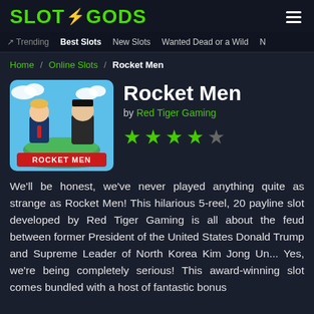SLOTGODS
Trending | Best Slots | New Slots | Wanted Dead or a Wild
Home / Online Slots / Rocket Men
[Figure (illustration): Cartoon illustration of two caricature figures standing back-to-back with a globe and rocket imagery. Text 'ROCKET MEN' at the bottom.]
Rocket Men
by Red Tiger Gaming
[Figure (other): 4 out of 5 green star rating]
We'll be honest, we've never played anything quite as strange as Rocket Men! This hilarious 5-reel, 20 payline slot developed by Red Tiger Gaming is all about the feud between former President of the United States Donald Trump and Supreme Leader of North Korea Kim Jong Un... Yes, we're being completely serious! This award-winning slot comes bundled with a host of fantastic bonus